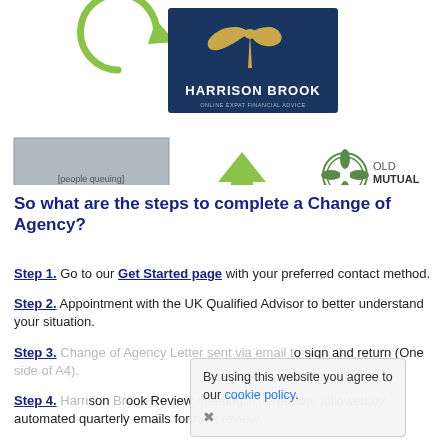[Figure (infographic): Top graphic area showing a green circular arrow, Harrison Brook logo (dark blue with gold bird/hummingbird), a photo of people queuing, green move/transfer arrows, and Old Mutual logo]
So what are the steps to complete a Change of Agency?
Step 1. Go to our Get Started page with your preferred contact method.
Step 2. Appointment with the UK Qualified Advisor to better understand your situation.
Step 3. Change of Agency Letter sent via email to sign and return (One side of A4).
Step 4. Harrison Brook Review meeting. Thereupon, followed by automated quarterly emails for next review.
By using this website you agree to our cookie policy.